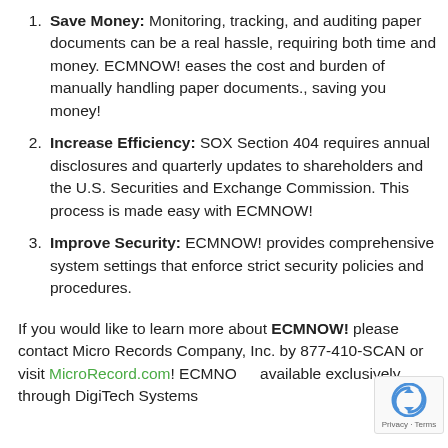Save Money: Monitoring, tracking, and auditing paper documents can be a real hassle, requiring both time and money. ECMNOW! eases the cost and burden of manually handling paper documents., saving you money!
Increase Efficiency: SOX Section 404 requires annual disclosures and quarterly updates to shareholders and the U.S. Securities and Exchange Commission. This process is made easy with ECMNOW!
Improve Security: ECMNOW! provides comprehensive system settings that enforce strict security policies and procedures.
If you would like to learn more about ECMNOW! please contact Micro Records Company, Inc. by 877-410-SCAN or visit MicroRecord.com! ECMNOW! available exclusively through DigiTech Systems